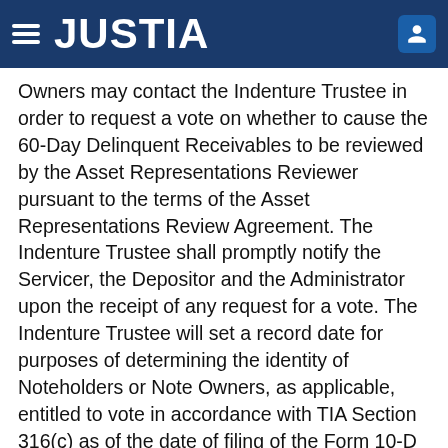JUSTIA
Owners may contact the Indenture Trustee in order to request a vote on whether to cause the 60-Day Delinquent Receivables to be reviewed by the Asset Representations Reviewer pursuant to the terms of the Asset Representations Review Agreement.  The Indenture Trustee shall promptly notify the Servicer, the Depositor and the Administrator upon the receipt of any request for a vote.  The Indenture Trustee will set a record date for purposes of determining the identity of Noteholders or Note Owners, as applicable, entitled to vote in accordance with TIA Section 316(c) as of the date of filing of the Form 10-D that disclosed that the Delinquency Trigger was met or exceeded.  Noteholders and Note Owners may request a vote not later than ninety (90) days after the date on which the Form 10-D describing the occurrence of such Delinquency Trigger shall have been filed by the Administrator, on behalf of